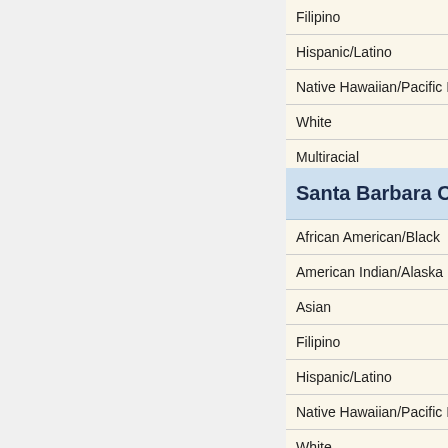| Race/Ethnicity |
| --- |
| Filipino |
| Hispanic/Latino |
| Native Hawaiian/Pacific I… |
| White |
| Multiracial |
| Santa Barbara C… |
| --- |
| African American/Black |
| American Indian/Alaska N… |
| Asian |
| Filipino |
| Hispanic/Latino |
| Native Hawaiian/Pacific I… |
| White |
| Multiracial |